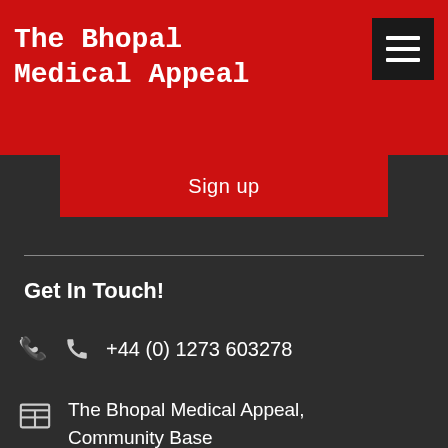The Bhopal Medical Appeal
Sign up
Get In Touch!
+44 (0) 1273 603278
The Bhopal Medical Appeal, Community Base
113 Queens Road, Brighton BN1 3XG